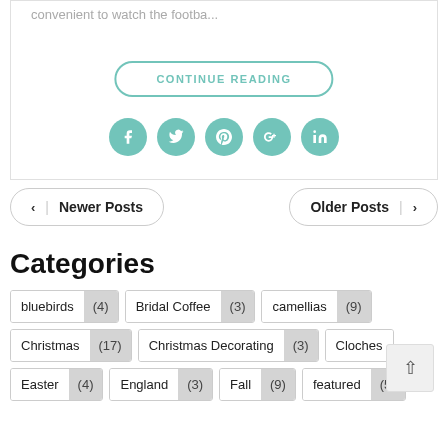convenient to watch the footba…
CONTINUE READING
[Figure (other): Row of 5 social media icon buttons (Facebook, Twitter, Pinterest, Google+, LinkedIn) in teal/mint circular buttons]
Newer Posts
Older Posts
Categories
bluebirds (4)
Bridal Coffee (3)
camellias (9)
Christmas (17)
Christmas Decorating (3)
Cloches
Easter (4)
England (3)
Fall (9)
featured (5)